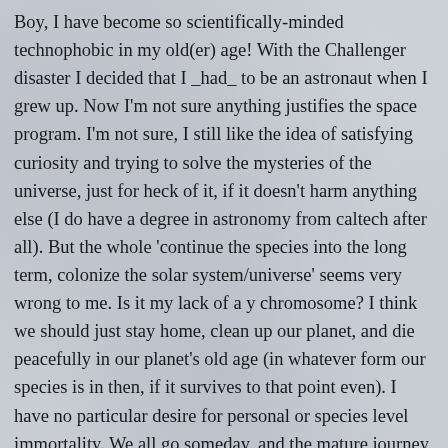Boy, I have become so scientifically-minded technophobic in my old(er) age! With the Challenger disaster I decided that I _had_ to be an astronaut when I grew up. Now I'm not sure anything justifies the space program. I'm not sure, I still like the idea of satisfying curiosity and trying to solve the mysteries of the universe, just for heck of it, if it doesn't harm anything else (I do have a degree in astronomy from caltech after all). But the whole 'continue the species into the long term, colonize the solar system/universe' seems very wrong to me. Is it my lack of a y chromosome? I think we should just stay home, clean up our planet, and die peacefully in our planet's old age (in whatever form our species is in then, if it survives to that point even). I have no particular desire for personal or species level immortality. We all go someday, and the mature journey before death seems to be one of the mind, not of the external space. Limits to life